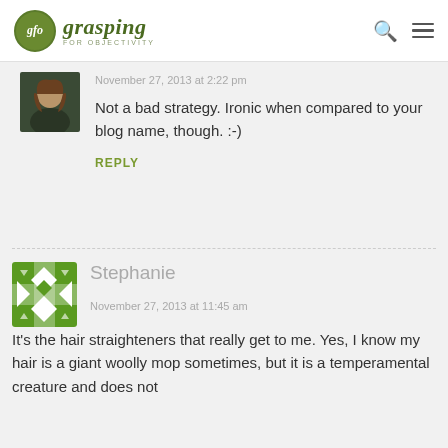gfo grasping FOR OBJECTIVITY
November 27, 2013 at 2:22 pm
Not a bad strategy. Ironic when compared to your blog name, though. :-)
REPLY
Stephanie
November 27, 2013 at 11:45 am
It's the hair straighteners that really get to me. Yes, I know my hair is a giant woolly mop sometimes, but it is a temperamental creature and does not